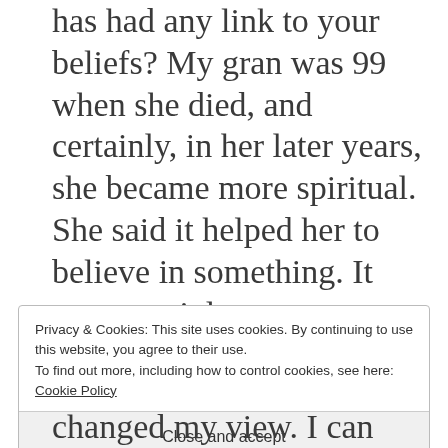has had any link to your beliefs? My gran was 99 when she died, and certainly, in her later years, she became more spiritual. She said it helped her to believe in something. It was certainly
Privacy & Cookies: This site uses cookies. By continuing to use this website, you agree to their use.
To find out more, including how to control cookies, see here: Cookie Policy
Close and accept
changed my view. I can